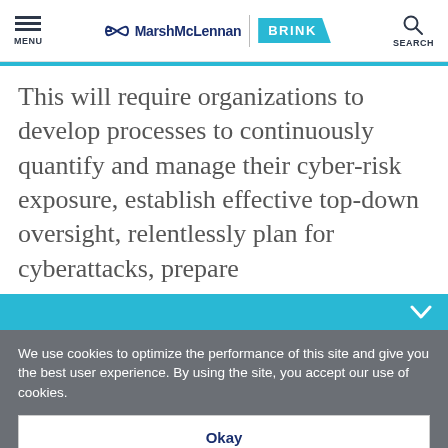MENU | MarshMcLennan BRINK | SEARCH
This will require organizations to develop processes to continuously quantify and manage their cyber-risk exposure, establish effective top-down oversight, relentlessly plan for cyberattacks, prepare
We use cookies to optimize the performance of this site and give you the best user experience. By using the site, you accept our use of cookies.
Okay
Manage Cookies